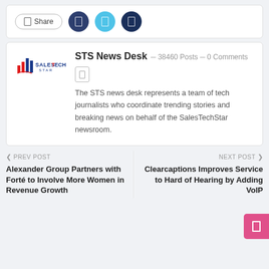[Figure (screenshot): Share button bar with social media icons (dark blue, light blue, navy circle buttons)]
[Figure (logo): SalesTechStar logo with bar chart icon in red/blue]
STS News Desk
38460 Posts - 0 Comments
The STS news desk represents a team of tech journalists who coordinate trending stories and breaking news on behalf of the SalesTechStar newsroom.
PREV POST
Alexander Group Partners with Forté to Involve More Women in Revenue Growth
NEXT POST
Clearcaptions Improves Service to Hard of Hearing by Adding VoIP